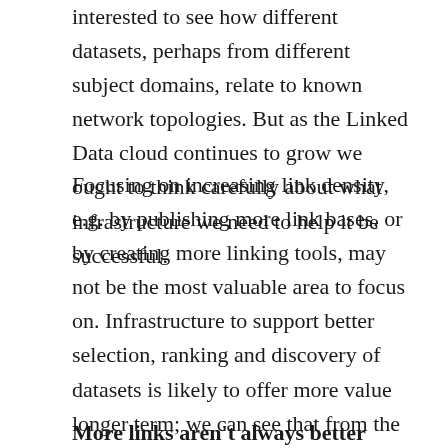interested to see how different datasets, perhaps from different subject domains, relate to known network topologies. But as the Linked Data cloud continues to grow we ought to think carefully about what infrastructure we need to help it be successful.
Focusing on increasing link density, e.g. by publishing more link bases, or by creating more linking tools, may not be the most valuable area to focus on. Infrastructure to support better selection, ranking and discovery of datasets is likely to offer more value longer term; we can see that from the existing web. Similarly, when we're advising publishers, particularly governments on how to publish and link their data, there are many nuances to consider.
More links aren't always better